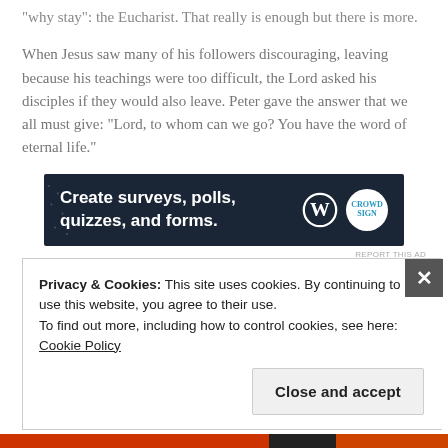“why stay”: the Eucharist. That really is enough but there is more.
When Jesus saw many of his followers discouraging, leaving because his teachings were too difficult, the Lord asked his disciples if they would also leave. Peter gave the answer that we all must give: “Lord, to whom can we go? You have the word of eternal life.”
[Figure (other): Advertisement banner: dark navy background with text 'Create surveys, polls, quizzes, and forms.' and WordPress logo with a circular badge on the right.]
REPORT THIS AD
Privacy & Cookies: This site uses cookies. By continuing to use this website, you agree to their use.
To find out more, including how to control cookies, see here: Cookie Policy
Close and accept